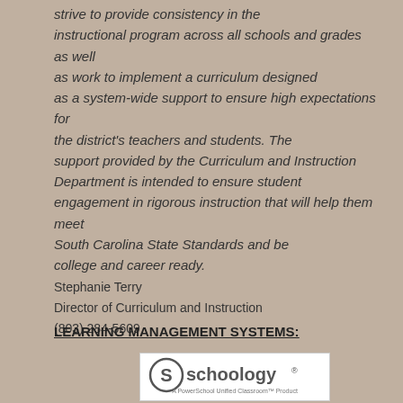strive to provide consistency in the instructional program across all schools and grades as well as work to implement a curriculum designed as a system-wide support to ensure high expectations for the district's teachers and students. The support provided by the Curriculum and Instruction Department is intended to ensure student engagement in rigorous instruction that will help them meet South Carolina State Standards and be college and career ready.
Stephanie Terry
Director of Curriculum and Instruction
(803) 284-5609
LEARNING MANAGEMENT SYSTEMS:
[Figure (logo): Schoology logo — circular S icon followed by the word 'schoology' with a registered trademark symbol, and below it 'A PowerSchool Unified Classroom™ Product']